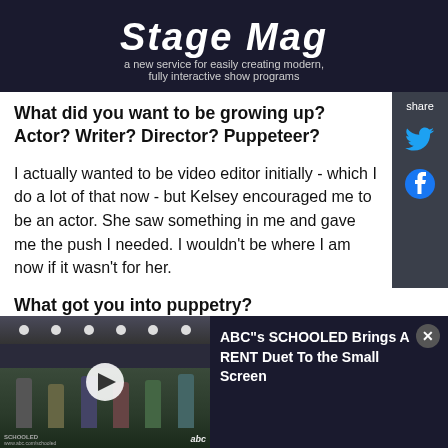[Figure (screenshot): Dark banner/advertisement for a service called 'Stage Mag' - a new service for easily creating modern, fully interactive show programs]
What did you want to be growing up? Actor? Writer? Director? Puppeteer?
I actually wanted to be video editor initially - which I do a lot of that now - but Kelsey encouraged me to be an actor. She saw something in me and gave me the push I needed. I wouldn't be where I am now if it wasn't for her.
What got you into puppetry?
[Figure (screenshot): Video overlay at bottom of page showing ABC's SCHOOLED television show with students on a stage, with a play button overlay and text 'ABC's SCHOOLED Brings A RENT Duet To the Small Screen']